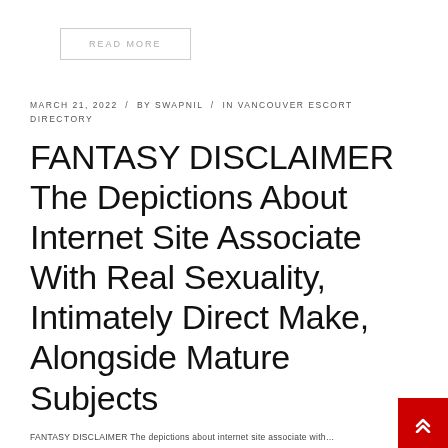READ MORE
MARCH 21, 2022 / BY SWAPNIL / IN VANCOUVER ESCORT DIRECTORY
FANTASY DISCLAIMER The Depictions About Internet Site Associate With Real Sexuality, Intimately Direct Make, Alongside Mature Subjects
FANTASY DISCLAIMER The depictions about internet site associate with...